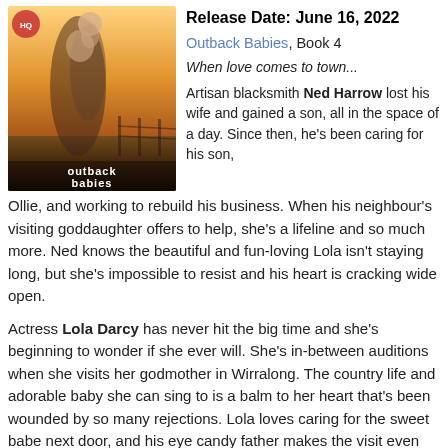[Figure (photo): Book cover for an Outback Babies romance novel showing a man lifting a baby toward a woman against a warm sunset/outback background, with text 'outback babies' at the bottom.]
Release Date: June 16, 2022
Outback Babies, Book 4
When love comes to town...
Artisan blacksmith Ned Harrow lost his wife and gained a son, all in the space of a day. Since then, he's been caring for his son, Ollie, and working to rebuild his business. When his neighbour's visiting goddaughter offers to help, she's a lifeline and so much more. Ned knows the beautiful and fun-loving Lola isn't staying long, but she's impossible to resist and his heart is cracking wide open.
Actress Lola Darcy has never hit the big time and she's beginning to wonder if she ever will. She's in-between auditions when she visits her godmother in Wirralong. The country life and adorable baby she can sing to is a balm to her heart that's been wounded by so many rejections. Lola loves caring for the sweet babe next door, and his eye candy father makes the visit even better.